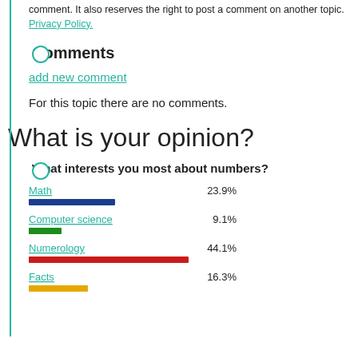comment. It also reserves the right to post a comment on another topic.
Privacy Policy.
Comments
add new comment
For this topic there are no comments.
What is your opinion?
What interests you most about numbers?
[Figure (bar-chart): What interests you most about numbers?]